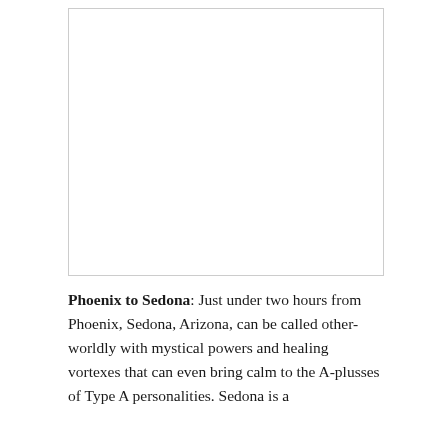[Figure (photo): Blank white image placeholder with a light gray border, representing a photo of the Phoenix to Sedona area.]
Phoenix to Sedona: Just under two hours from Phoenix, Sedona, Arizona, can be called other-worldly with mystical powers and healing vortexes that can even bring calm to the A-plusses of Type A personalities. Sedona is a